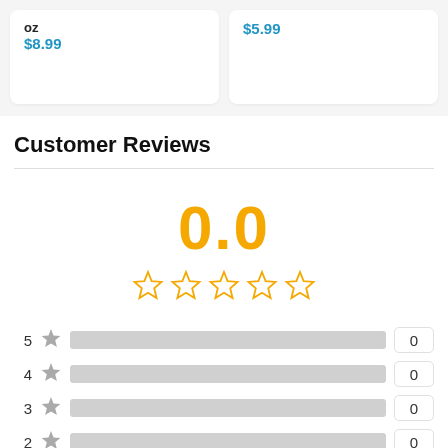oz
$8.99
$5.99
Customer Reviews
[Figure (other): Rating display showing 0.0 with 5 empty gold star outlines]
| Stars | Bar | Count |
| --- | --- | --- |
| 5 ★ |  | 0 |
| 4 ★ |  | 0 |
| 3 ★ |  | 0 |
| 2 ★ |  | 0 |